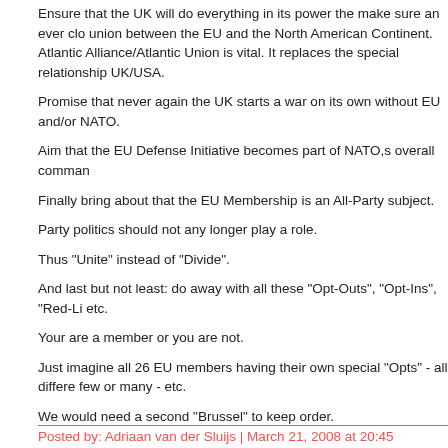Ensure that the UK will do everything in its power the make sure an ever closer union between the EU and the North American Continent. Atlantic Alliance/Atlantic Union is vital. It replaces the special relationship UK/USA.
Promise that never again the UK starts a war on its own without EU and/or NATO.
Aim that the EU Defense Initiative becomes part of NATO,s overall command.
Finally bring about that the EU Membership is an All-Party subject.
Party politics should not any longer play a role.
Thus "Unite" instead of "Divide".
And last but not least: do away with all these "Opt-Outs", "Opt-Ins", "Red-Lines" etc.
Your are a member or you are not.
Just imagine all 26 EU members having their own special "Opts" - all different - few or many - etc.
We would need a second "Brussel" to keep order.
Posted by: Adriaan van der Sluijs | March 21, 2008 at 20:45